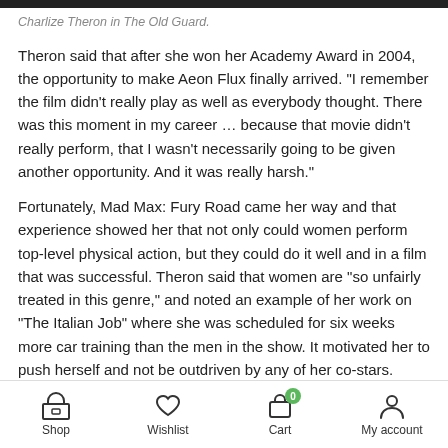Charlize Theron in The Old Guard.
Theron said that after she won her Academy Award in 2004, the opportunity to make Aeon Flux finally arrived. "I remember the film didn't really play as well as everybody thought. There was this moment in my career … because that movie didn't really perform, that I wasn't necessarily going to be given another opportunity. And it was really harsh."
Fortunately, Mad Max: Fury Road came her way and that experience showed her that not only could women perform top-level physical action, but they could do it well and in a film that was successful. Theron said that women are "so unfairly treated in this genre," and noted an example of her work on "The Italian Job" where she was scheduled for six weeks more car training than the men in the show. It motivated her to push herself and not be outdriven by any of her co-stars.
Shop  Wishlist  Cart  My account